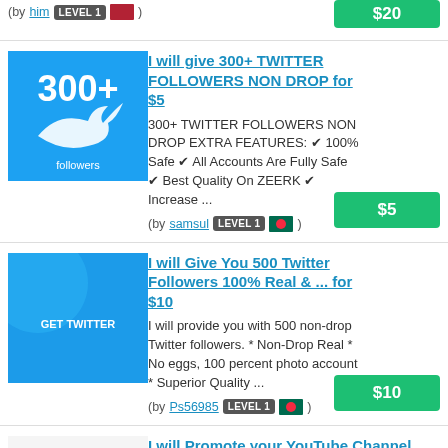(by him LEVEL 1 🇺🇸 )  $20
I will give 300+ TWITTER FOLLOWERS NON DROP for $5
300+ TWITTER FOLLOWERS NON DROP EXTRA FEATURES: ✔ 100% Safe ✔ All Accounts Are Fully Safe ✔ Best Quality On ZEERK ✔ Increase ...
(by samsul LEVEL 1 🇧🇩 )  $5
I will Give You 500 Twitter Followers 100% Real & ... for $10
I will provide you with 500 non-drop Twitter followers. * Non-Drop Real * No eggs, 100 percent photo account * Superior Quality ...
(by Ps56985 LEVEL 1 🇧🇩 )  $10
I will Promote your YouTube Channel and Guarantee 200 ... for $10
Do you have a great YouTube channel with great content and are looking to improve your visibility?